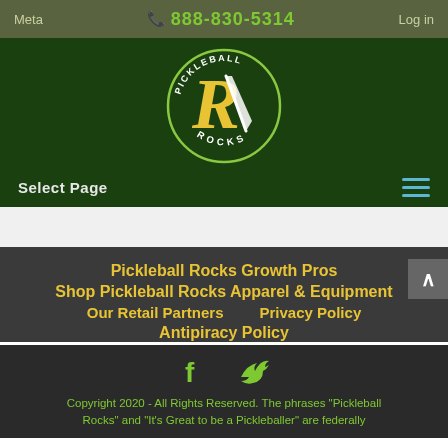Meta
888-830-5314
Log in
[Figure (logo): Pickleball Rocks circular logo with large stylized R and lightning bolt, yellow and white text on dark green background]
Select Page
Pickleball Rocks Growth Pros
Shop Pickleball Rocks Apparel & Equipment
Our Retail Partners
Privacy Policy
Antipiracy Policy
[Figure (logo): Facebook and Twitter social media icons in green]
Copyright 2020 - All Rights Reserved. The phrases "Pickleball Rocks" and "It's Great to be a Pickleballer" are federally...